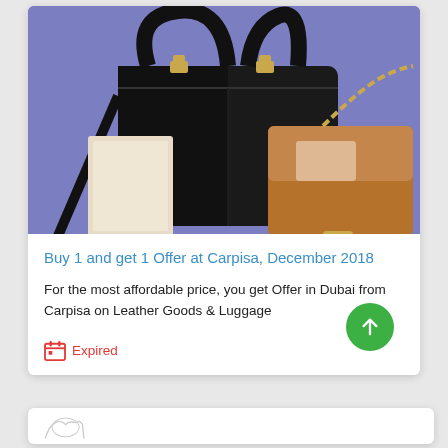[Figure (photo): Product photo showing black leather handbags and a tan/brown crossbody bag with chain strap on a purple/periwinkle background]
Buy 1 and get 1 Offer at Carpisa, December 2018
For the most affordable price, you get Offer in Dubai from Carpisa on Leather Goods & Luggage
Expired
[Figure (illustration): Partial illustration of a hand/bag at the bottom of the page in a second card]